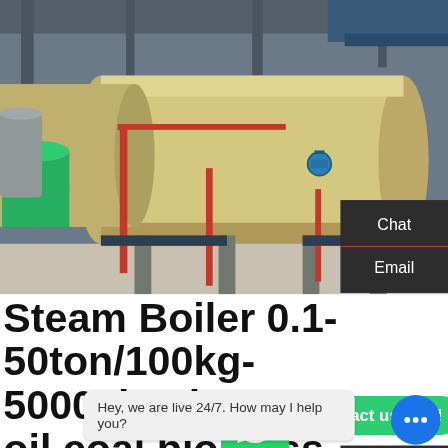[Figure (photo): Industrial steam boilers in a facility — large horizontal cylindrical boilers in tan/beige color with red pipes, valves, and support structures on a concrete floor inside a warehouse.]
Steam Boiler 0.1-50ton/100kg-50000kg, by gas oil coal biomass
Plan B Coal (charcoal briquette) steam boiler. 1) 100-2000kg/100-1400kw vertical coal boiler, small steam boiler or hot water boiler, easy to operate. 2) 1ton-40ton automatic chain grate coal boiler top
[Figure (screenshot): WhatsApp icon button (green rounded square with white phone handset logo)]
Contact us now!
Chat
Email
Contact
Hey, we are live 24/7. How may I help you?